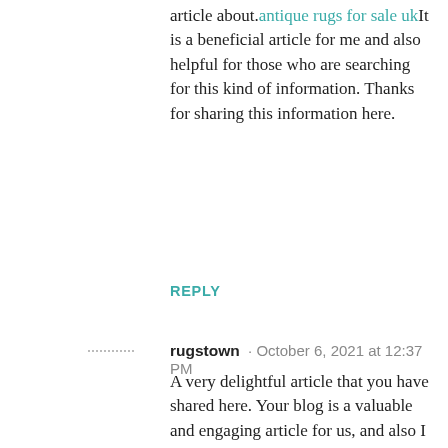You have provided a really informative article about. antique rugs for sale uk It is a beneficial article for me and also helpful for those who are searching for this kind of information. Thanks for sharing this information here.
REPLY
rugstown · October 6, 2021 at 12:37 PM
A very delightful article that you have shared here. Your blog is a valuable and engaging article for us, and also I will share it with my companions who need this info. Jaipur Living Rugs Thankful to you for sharing an article like this.
REPLY
kbscleaningservicescom · October 12, 2021 at 10:48 AM